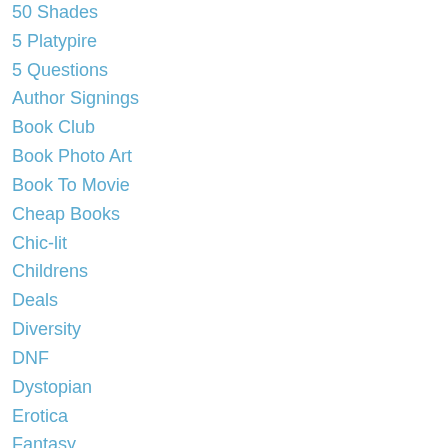50 Shades
5 Platypire
5 Questions
Author Signings
Book Club
Book Photo Art
Book To Movie
Cheap Books
Chic-lit
Childrens
Deals
Diversity
DNF
Dystopian
Erotica
Fantasy
Fat Angie
Free Books
Graphic Novels
Greek
Horror